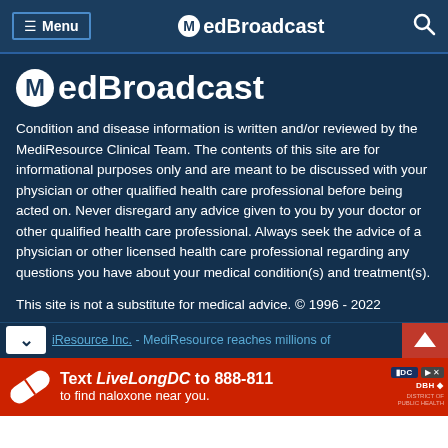Menu  MedBroadcast
[Figure (logo): MedBroadcast logo with M in white circle followed by edBroadcast text]
Condition and disease information is written and/or reviewed by the MediResource Clinical Team. The contents of this site are for informational purposes only and are meant to be discussed with your physician or other qualified health care professional before being acted on. Never disregard any advice given to you by your doctor or other qualified health care professional. Always seek the advice of a physician or other licensed health care professional regarding any questions you have about your medical condition(s) and treatment(s).
This site is not a substitute for medical advice. © 1996 - 2022
iResource Inc. - MediResource reaches millions of
[Figure (infographic): Red advertisement banner: Text LiveLongDC to 888-811 to find naloxone near you.]